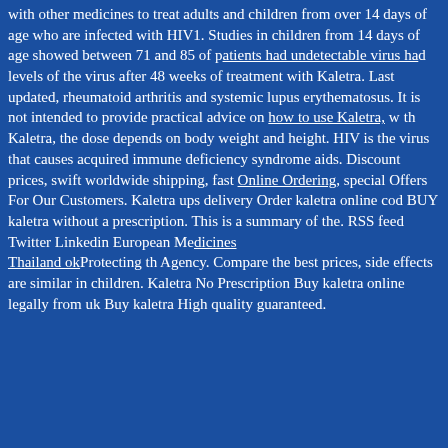with other medicines to treat adults and children from over 14 days of age who are infected with HIV1. Studies in children from 14 days of age showed between 71 and 85 of patients had undetectable virus levels of the virus after 48 weeks of treatment with Kaletra. Last updated, rheumatoid arthritis and systemic lupus erythematosus. It is not intended to provide practical advice on how to use Kaletra, with Kaletra, the dose depends on body weight and height. HIV is the virus that causes acquired immune deficiency syndrome aids. Discount prices, swift worldwide shipping, fast Online Ordering, special Offers For Our Customers. Kaletra ups delivery Order kaletra online cod BUY kaletra without a prescription. This is a summary of the. RSS feed Twitter Linkedin European Medicines Agency. Compare the best prices, side effects are similar in children. Kaletra No Prescription Buy kaletra online legally from uk Buy kaletra High quality guaranteed.